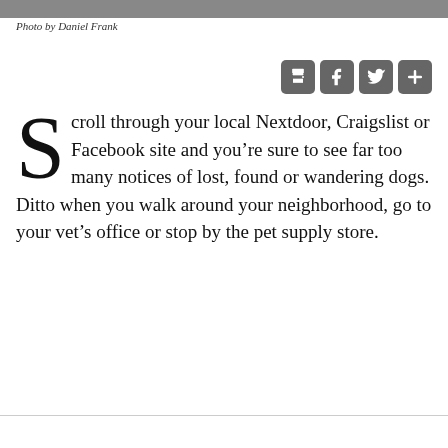[Figure (photo): Partial photo strip at top of page, grayscale image of a dog]
Photo by Daniel Frank
[Figure (infographic): Social media sharing icons: print, Facebook, Twitter, plus/more]
Scroll through your local Nextdoor, Craigslist or Facebook site and you’re sure to see far too many notices of lost, found or wandering dogs. Ditto when you walk around your neighborhood, go to your vet’s office or stop by the pet supply store.